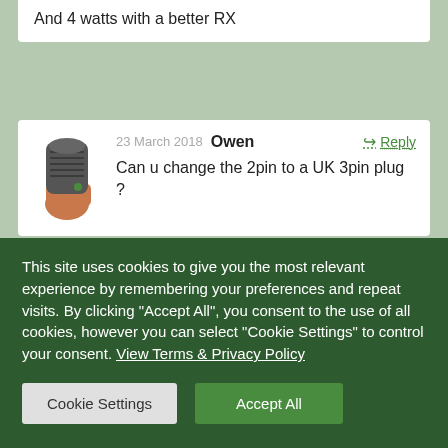And 4 watts with a better RX
23 March 2018  Owen
Can u change the 2pin to a UK 3pin plug ?
31 January 2019  Jay
Hi
I'm trying to set up frequencies on my 888s.
This site uses cookies to give you the most relevant experience by remembering your preferences and repeat visits. By clicking "Accept All", you consent to the use of all cookies, however you can select "Cookie Settings" to control your consent. View Terms & Privacy Policy